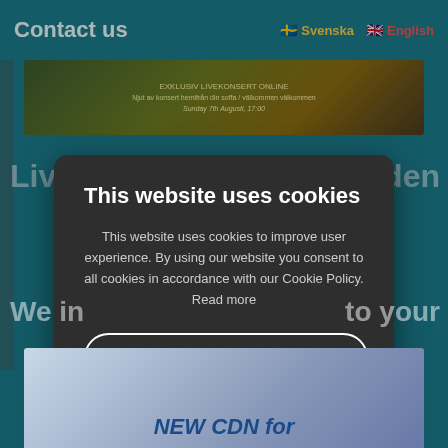Contact us   Svenska   English
[Figure (photo): Top banner image showing concert/performance scene with text overlay]
Liv... ...den
[Figure (screenshot): Cookie consent dialog overlay with title 'This website uses cookies', body text, Decline All button, Accept All button, and Show Details link]
We in... ...to your
[Figure (photo): Bottom image showing network/CDN graphic with text 'NEW CDN for']